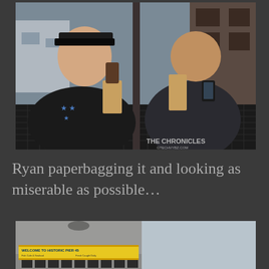[Figure (photo): Two men sitting at an outdoor table. The man on the left wears a black hoodie and cap, holding a bottle in a paper bag. The man on the right wears a dark jacket and looks at his phone, also with a paper bag bottle on the table. Watermark reads 'THE CHRONICLES' in bottom right corner.]
Ryan paperbagging it and looking as miserable as possible…
[Figure (photo): Exterior of a building with a yellow banner sign reading 'WELCOME TO HISTORIC PIER 45'. Overcast sky visible to the right.]